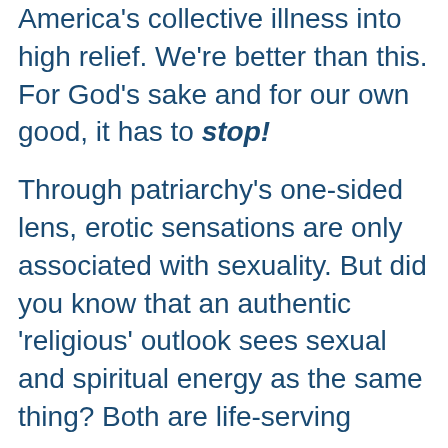…election has brought America's collective illness into high relief. We're better than this. For God's sake and for our own good, it has to stop!
Through patriarchy's one-sided lens, erotic sensations are only associated with sexuality. But did you know that an authentic 'religious' outlook sees sexual and spiritual energy as the same thing? Both are life-serving…